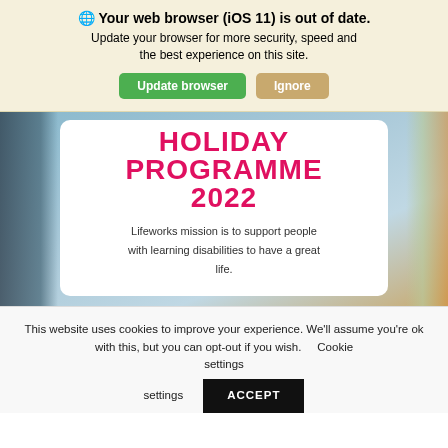Your web browser (iOS 11) is out of date. Update your browser for more security, speed and the best experience on this site.
[Figure (screenshot): Holiday Programme 2022 hero image with beach background, showing bold pink/red text 'HOLIDAY PROGRAMME 2022' on a white card, with tagline about Lifeworks mission]
Lifeworks mission is to support people with learning disabilities to have a great life.
This website uses cookies to improve your experience. We'll assume you're ok with this, but you can opt-out if you wish. Cookie settings ACCEPT